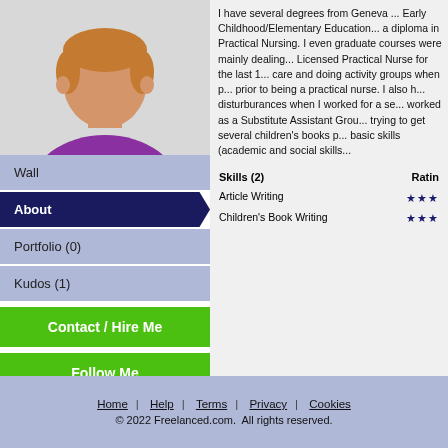[Figure (illustration): Cartoon avatar of a person with short hair wearing a purple shirt, cropped at upper body, on a light gray background]
Wall
About
Portfolio (0)
Kudos (1)
Contact / Hire Me
Follow Me
Member Of (4)
Article Writers
Children's Book Writers
More...
I have several degrees from Geneva ... basic skills (academic and social skills...
| Skills (2) | Rating |
| --- | --- |
| Article Writing | ★★★ |
| Children's Book Writing | ★★★ |
Home | Help | Terms | Privacy | Cookies
© 2022 Freelanced.com. All rights reserved.